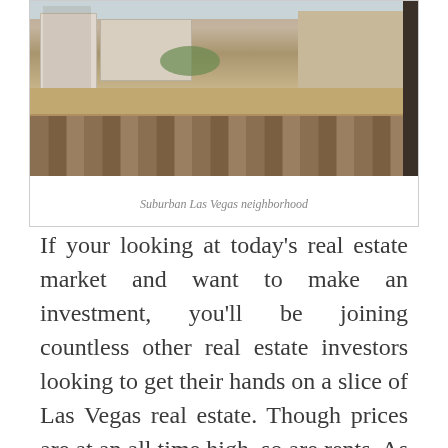[Figure (photo): Suburban Las Vegas neighborhood under construction, showing concrete block walls, scaffolding, earthen terrain, stone retaining wall, and sparse desert vegetation.]
Suburban Las Vegas neighborhood
If your looking at today's real estate market and want to make an investment, you'll be joining countless other real estate investors looking to get their hands on a slice of Las Vegas real estate. Though prices are at an all time high, so are rents. As a matter of fact, according to Realtor.com, rents